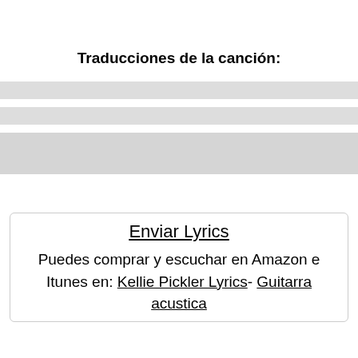Traducciones de la canción:
[Figure (other): Three gray horizontal bars representing placeholder/loading content]
Enviar Lyrics
Puedes comprar y escuchar en Amazon e Itunes en: Kellie Pickler Lyrics- Guitarra acustica